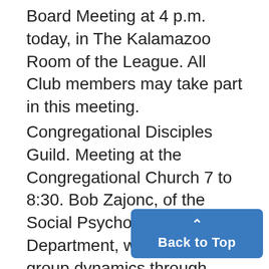Board Meeting at 4 p.m. today, in The Kalamazoo Room of the League. All Club members may take part in this meeting.
Congregational Disciples Guild. Meeting at the Congregational Church 7 to 8:30. Bob Zajonc, of the Social Psychology Department, will discuss group dynamics through role-playing with the group.
Coming Events
Engineers, Chemists, and Physi[cists]. A group meeting at 7 p.m., Mon[day], 17, will be held in 1042 East Engineer-